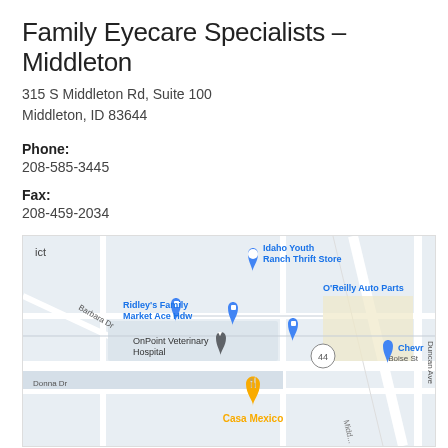Family Eyecare Specialists – Middleton
315 S Middleton Rd, Suite 100
Middleton, ID 83644
Phone:
208-585-3445
Fax:
208-459-2034
[Figure (map): Google Maps view of the area around 315 S Middleton Rd, Middleton, ID, showing nearby landmarks including Idaho Youth Ranch Thrift Store, Ridley's Family Market Ace Hdw, O'Reilly Auto Parts, OnPoint Veterinary Hospital, Casa Mexico restaurant, and street labels including Barbara Dr, Donna Dr, Boise St, Duncan Ave, and highway 44.]
Monday:    8:00 AM - 5:30 PM
Tuesday:   8:00 AM - 5:30 PM